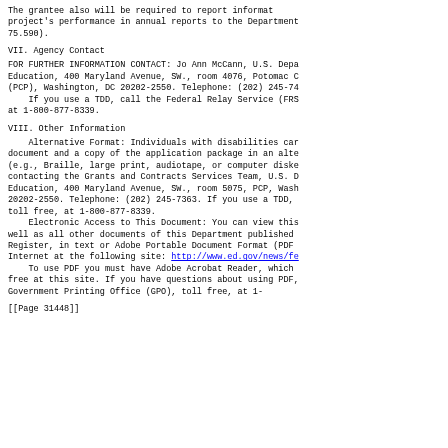The grantee also will be required to report informat project's performance in annual reports to the Department 75.590).
VII. Agency Contact
FOR FURTHER INFORMATION CONTACT: Jo Ann McCann, U.S. Depa Education, 400 Maryland Avenue, SW., room 4076, Potomac C (PCP), Washington, DC 20202-2550. Telephone: (202) 245-74     If you use a TDD, call the Federal Relay Service (FRS at 1-800-877-8339.
VIII. Other Information
Alternative Format: Individuals with disabilities car document and a copy of the application package in an alte (e.g., Braille, large print, audiotape, or computer diske contacting the Grants and Contracts Services Team, U.S. D Education, 400 Maryland Avenue, SW., room 5075, PCP, Wash 20202-2550. Telephone: (202) 245-7363. If you use a TDD, toll free, at 1-800-877-8339.     Electronic Access to This Document: You can view this well as all other documents of this Department published Register, in text or Adobe Portable Document Format (PDF Internet at the following site: http://www.ed.gov/news/fe     To use PDF you must have Adobe Acrobat Reader, which free at this site. If you have questions about using PDF, Government Printing Office (GPO), toll free, at 1-
[[Page 31448]]